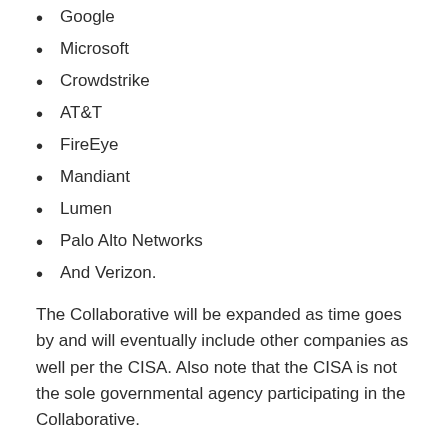Google
Microsoft
Crowdstrike
AT&T
FireEye
Mandiant
Lumen
Palo Alto Networks
And Verizon.
The Collaborative will be expanded as time goes by and will eventually include other companies as well per the CISA. Also note that the CISA is not the sole governmental agency participating in the Collaborative.
The other agencies involved include:
The FBI